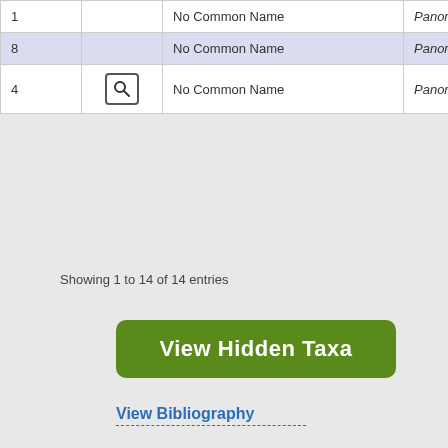| # |  | Common Name | Genus |
| --- | --- | --- | --- |
| 1 |  | No Common Name | Panorpa |
| 8 |  | No Common Name | Panorpa |
| 4 | [search icon] | No Common Name | Panorpa |
Showing 1 to 14 of 14 entries
View Hidden Taxa
View Bibliography